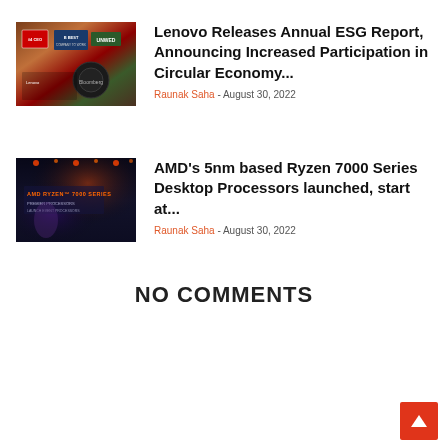[Figure (photo): Thumbnail image of Lenovo ESG event display with awards and signage]
Lenovo Releases Annual ESG Report, Announcing Increased Participation in Circular Economy...
Raunak Saha - August 30, 2022
[Figure (photo): Thumbnail image of AMD Ryzen 7000 Series launch event stage with dark background and lighting]
AMD's 5nm based Ryzen 7000 Series Desktop Processors launched, start at...
Raunak Saha - August 30, 2022
NO COMMENTS